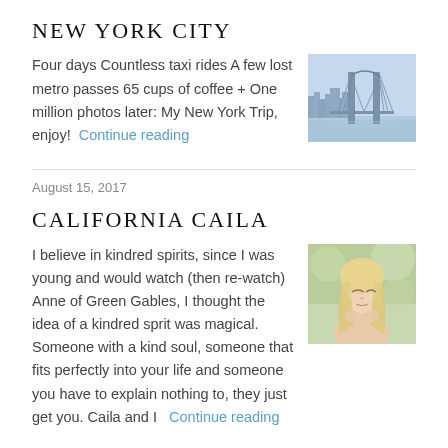NEW YORK CITY
Four days Countless taxi rides A few lost metro passes 65 cups of coffee + One million photos later: My New York Trip, enjoy!  Continue reading
[Figure (photo): Photo of Brooklyn Bridge with NYC skyline and blue water, pastel tones]
August 15, 2017
CALIFORNIA CAILA
I believe in kindred spirits, since I was young and would watch (then re-watch) Anne of Green Gables, I thought the idea of a kindred sprit was magical. Someone with a kind soul, someone that fits perfectly into your life and someone you have to explain nothing to, they just get you. Caila and I   Continue reading
[Figure (photo): Photo of a blonde woman with long wavy hair, eyes closed, hands near her chin, soft outdoor background]